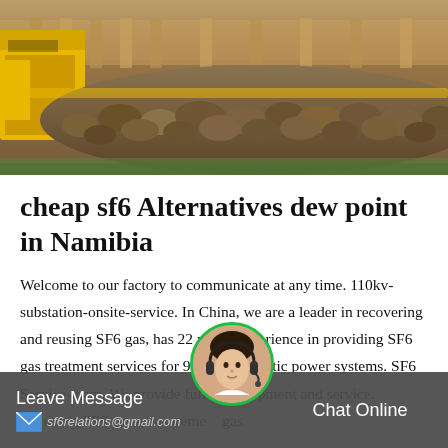[Figure (photo): Construction site photo showing a large pile of rocks/gravel with yellow heavy machinery visible on the left side and wooden fence in the background]
cheap sf6 Alternatives dew point in Namibia
Welcome to our factory to communicate at any time. 110kv-substation-onsite-service. In China, we are a leader in recovering and reusing SF6 gas, has 22 years' experience in providing SF6 gas treatment services for 95% of domestic power systems. SF6 Service-team. We provide full set equipment and service, including SF6 gas measurement gas
Leave Message  sf6relations@gmail.com  Chat Online